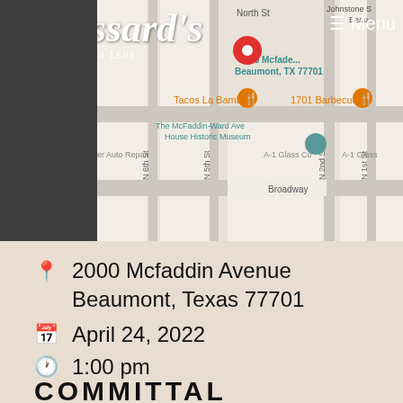[Figure (screenshot): Google Maps view showing location near 2000 Mcfaddin Avenue, Beaumont TX 77701 with map pin, street names (North St, N 6th St, N 5th St, Broadway, N 2nd St, N 1st St), and nearby businesses (Tacos La Bamba, 1701 Barbecue, The McFaddin-Ward House Historic Museum, A-1 Glass Co)]
[Figure (logo): Broussard's funeral home logo — cursive script 'Broussards' with 'Established 1889' underneath, white text on dark background]
☰ Menu
2000 Mcfaddin Avenue Beaumont, Texas 77701
April 24, 2022
1:00 pm
COMMITTAL